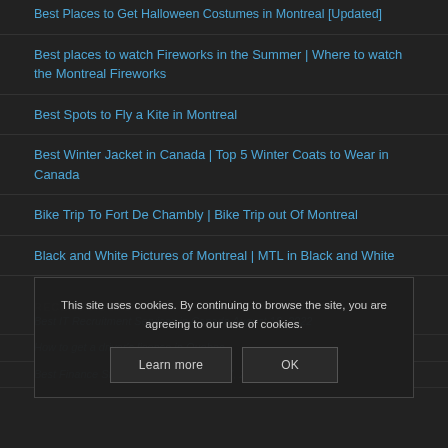Best Places to Get Halloween Costumes in Montreal [Updated]
Best places to watch Fireworks in the Summer | Where to watch the Montreal Fireworks
Best Spots to Fly a Kite in Montreal
Best Winter Jacket in Canada | Top 5 Winter Coats to Wear in Canada
Bike Trip To Fort De Chambly | Bike Trip out Of Montreal
Black and White Pictures of Montreal | MTL in Black and White
RECENT POSTS
Best IT Recruitment Services in Canada August 16, 2022
How to get a driver's license in Quebec
Best Finance Startups in Quebec July 17, 2022
This site uses cookies. By continuing to browse the site, you are agreeing to our use of cookies.